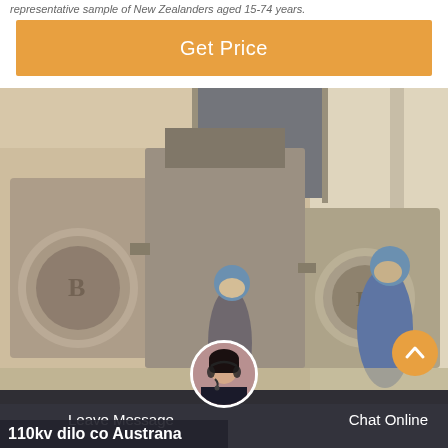representative sample of New Zealanders aged 15-74 years.
[Figure (other): Orange 'Get Price' button/banner]
[Figure (photo): Industrial facility photo showing two workers in blue helmets and coveralls inspecting large industrial machinery (fans/blowers) inside a factory building]
Leave Message
Chat Online
110kv dilo co Austrana